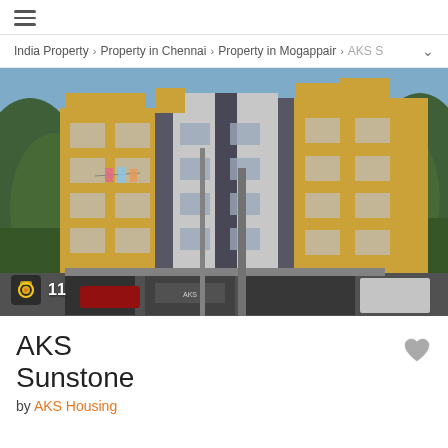≡
India Property > Property in Chennai > Property in Mogappair > AKS S
[Figure (photo): Exterior photograph of AKS Sunstone residential apartment building in Chennai. The multi-storey building features yellow and grey/white facade with balconies and laundry hanging. Trees visible on both sides.]
AKS Sunstone
by AKS Housing